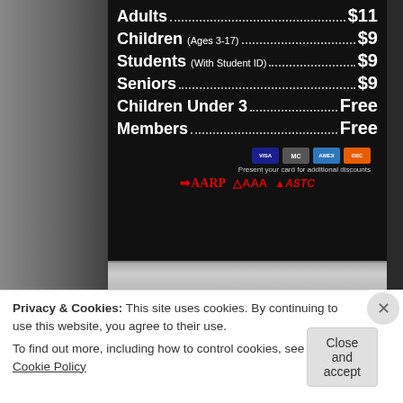[Figure (photo): Photo of a pricing sign board on a dark background showing admission prices: Adults $11, Children (Ages 3-17) $9, Students (With Student ID) $9, Seniors $9, Children Under 3 Free, Members Free. Bottom section shows credit card logos (VISA, Mastercard, Amex, Discover) and discount partner logos (AARP, AAA, ASTC) with text 'Present your card for additional discounts'.]
Privacy & Cookies: This site uses cookies. By continuing to use this website, you agree to their use.
To find out more, including how to control cookies, see here: Cookie Policy
Close and accept